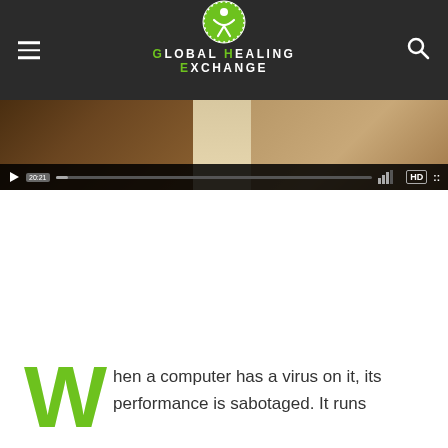Global Healing Exchange
[Figure (screenshot): Video player with thumbnail showing brown/tan textured background, with playback controls bar at the bottom showing play button, timestamp, progress bar, HD badge]
When a computer has a virus on it, its performance is sabotaged. It runs